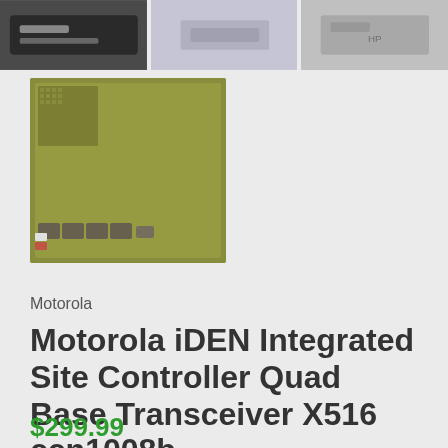[Figure (photo): Top row of three product thumbnail photos of hardware/electronic equipment]
[Figure (photo): Photo of Motorola iDEN Integrated Site Controller Quad Base Transceiver circuit board, showing green PCB with ports visible]
Motorola
Motorola iDEN Integrated Site Controller Quad Base Transceiver X516 ccn1008b
$299.99